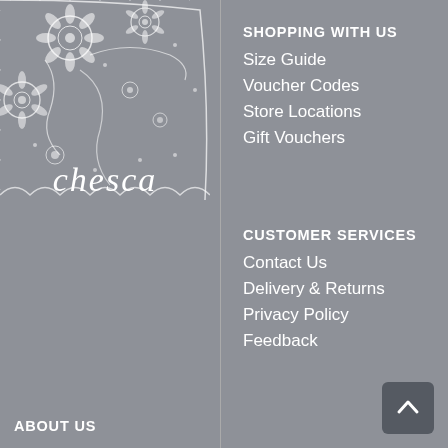[Figure (logo): Chesca brand logo with white lace pattern overlay on grey background and italic 'chesca' text]
SHOPPING WITH US
Size Guide
Voucher Codes
Store Locations
Gift Vouchers
CUSTOMER SERVICES
Contact Us
Delivery & Returns
Privacy Policy
Feedback
ABOUT US